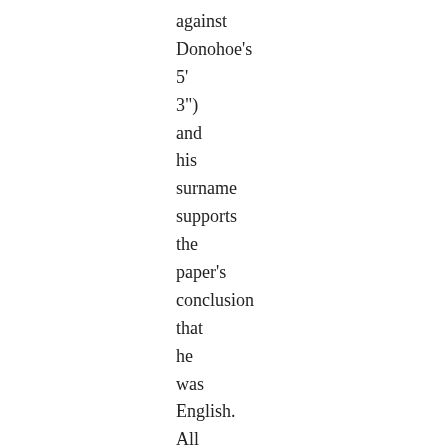against Donohoe's 5' 3") and his surname supports the paper's conclusion that he was English. All the evidence, therefore, points